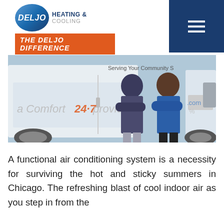[Figure (logo): Deljo Heating & Cooling logo with oval blue badge and orange banner reading 'THE DELJO DIFFERENCE']
[Figure (photo): Two HVAC technicians in blue uniforms standing in front of a white Deljo service van. Text on van reads 'a Comfort 24-7 provide' and 'Serving Your Community S']
A functional air conditioning system is a necessity for surviving the hot and sticky summers in Chicago. The refreshing blast of cool indoor air as you step in from the